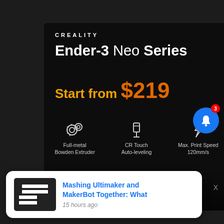[Figure (screenshot): Creality Ender-3 Neo Series advertisement banner on dark background. Shows brand name CREALITY at top, product name Ender-3 Neo Series, price 'Start from $219' in orange, three feature icons (Full-metal Bowden Extruder, CR Touch Auto-leveling, Max. Print Speed 120mm/s), and a Buy Now button. A blue Facebook-style notification bell with badge showing '3' is visible to the right. Below the ad is a related article card: 'Mashing Ultimaker and MakerBot Together: What' with timestamp '15 hours ago'.]